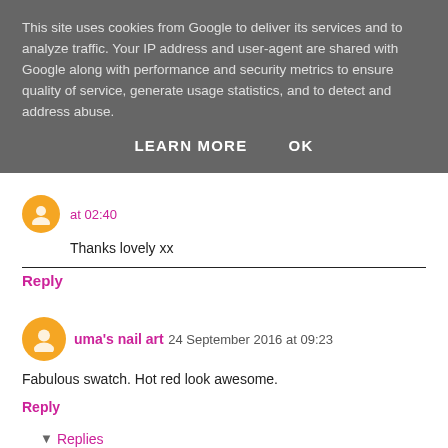This site uses cookies from Google to deliver its services and to analyze traffic. Your IP address and user-agent are shared with Google along with performance and security metrics to ensure quality of service, generate usage statistics, and to detect and address abuse.
LEARN MORE   OK
at 02:40
Thanks lovely xx
Reply
uma's nail art  24 September 2016 at 09:23
Fabulous swatch. Hot red look awesome.
Reply
Replies
A Certain Becca Nails  27 September 2016